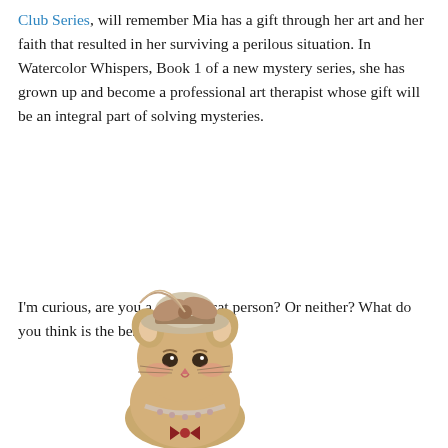Club Series, will remember Mia has a gift through her art and her faith that resulted in her surviving a perilous situation. In Watercolor Whispers, Book 1 of a new mystery series, she has grown up and become a professional art therapist whose gift will be an integral part of solving mysteries.
I'm curious, are you a dog or a cat person? Or neither? What do you think is the best pet?
[Figure (illustration): Illustrated cartoon cat wearing a decorative hat with a bow, dressed in fancy attire with a collar and bow tie, fluffy tan/beige fur, rosy cheeks, looking forward.]